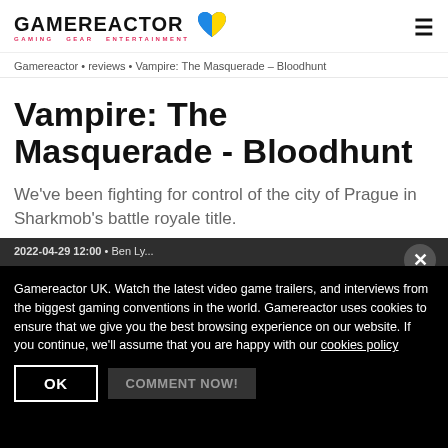GAMEREACTOR — GAMING GEAR ENTERTAINMENT
Gamereactor • reviews • Vampire: The Masquerade – Bloodhunt
Vampire: The Masquerade - Bloodhunt
We've been fighting for control of the city of Prague in Sharkmob's battle royale title.
2022-04-29 12:00 • Ben Ly...
Gamereactor UK. Watch the latest video game trailers, and interviews from the biggest gaming conventions in the world. Gamereactor uses cookies to ensure that we give you the best browsing experience on our website. If you continue, we'll assume that you are happy with our cookies policy